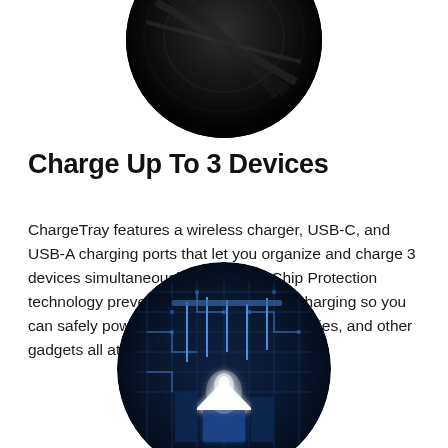[Figure (photo): Circular cropped photo of a dark black charging tray product shot, viewed from above, showing glossy surface with subtle reflective lines.]
Charge Up To 3 Devices
ChargeTray features a wireless charger, USB-C, and USB-A charging ports that let you organize and charge 3 devices simultaneously. The Smart Chip Protection technology prevents damage from overcharging so you can safely power up your phone, accessories, and other gadgets all at once.
[Figure (photo): Circular cropped photo of a glowing blue circuit board / smart chip technology scene with bright white light source shaped like a house or arrow, surrounded by blue circuit patterns and electronic components.]